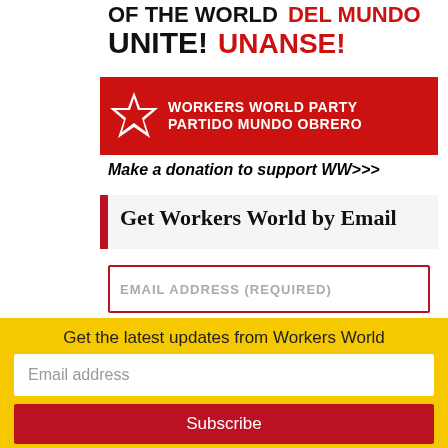[Figure (photo): Workers World Party banner/poster showing 'OF THE WORLD UNITE! DEL MUNDO UNANSE!' in black and red text, with 'WORKERS WORLD PARTY PARTIDO MUNDO OBRERO' on a red band with a white star]
Make a donation to support WW>>>
Get Workers World by Email
EMAIL ADDRESS (REQUIRED)
FIRST NAME
Get the latest updates from Workers World
Email address
Subscribe